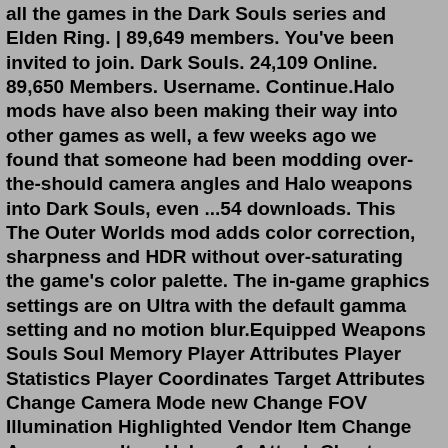all the games in the Dark Souls series and Elden Ring. | 89,649 members. You've been invited to join. Dark Souls. 24,109 Online. 89,650 Members. Username. Continue.Halo mods have also been making their way into other games as well, a few weeks ago we found that someone had been modding over-the-should camera angles and Halo weapons into Dark Souls, even ...54 downloads. This The Outer Worlds mod adds color correction, sharpness and HDR without over-saturating the game's color palette. The in-game graphics settings are on Ultra with the default gamma setting and no motion blur.Equipped Weapons Souls Soul Memory Player Attributes Player Statistics Player Coordinates Target Attributes Change Camera Mode new Change FOV Illumination Highlighted Vendor Item Change Appearance Item Helper: 1. Attach Cheat Engine 6.4 to DarkSoulsII.exe 2. Enable the Display Item Identifiers in Log script 3. Select all of the text (Control+A) 4.Dark flame burns a path across the expanse, the fur cloak, sodden with ash, lights up like dry tinder and the old mortal curses as